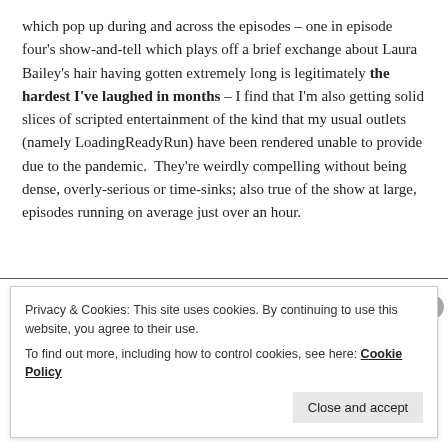which pop up during and across the episodes – one in episode four's show-and-tell which plays off a brief exchange about Laura Bailey's hair having gotten extremely long is legitimately the hardest I've laughed in months – I find that I'm also getting solid slices of scripted entertainment of the kind that my usual outlets (namely LoadingReadyRun) have been rendered unable to provide due to the pandemic.  They're weirdly compelling without being dense, overly-serious or time-sinks; also true of the show at large, episodes running on average just over an hour.
Privacy & Cookies: This site uses cookies. By continuing to use this website, you agree to their use.
To find out more, including how to control cookies, see here: Cookie Policy